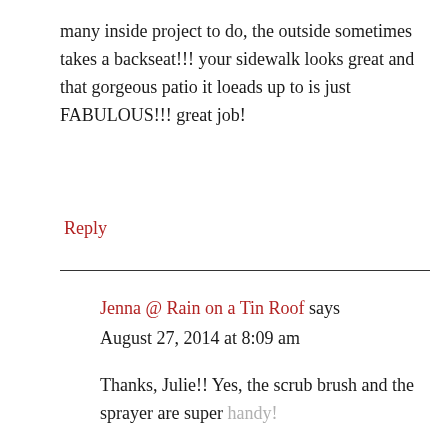many inside project to do, the outside sometimes takes a backseat!!! your sidewalk looks great and that gorgeous patio it loeads up to is just FABULOUS!!! great job!
Reply
Jenna @ Rain on a Tin Roof says
August 27, 2014 at 8:09 am
Thanks, Julie!! Yes, the scrub brush and the sprayer are super handy!